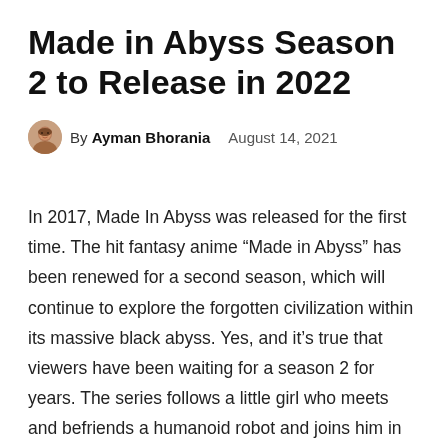Made in Abyss Season 2 to Release in 2022
By Ayman Bhorania   August 14, 2021
In 2017, Made In Abyss was released for the first time. The hit fantasy anime “Made in Abyss” has been renewed for a second season, which will continue to explore the forgotten civilization within its massive black abyss. Yes, and it’s true that viewers have been waiting for a season 2 for years. The series follows a little girl who meets and befriends a humanoid robot and joins him in searching for her mother in the mysterious Abyss. The Abyss, a vast cave system, is the world’s sole uncharted location. Nobody knows how deep